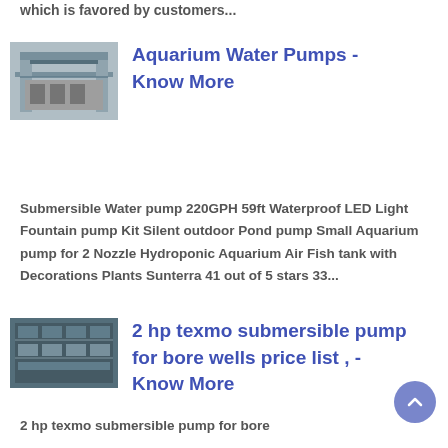which is favored by customers...
[Figure (photo): Thumbnail image of industrial water pump structure]
Aquarium Water Pumps - Know More
Submersible Water pump 220GPH 59ft Waterproof LED Light Fountain pump Kit Silent outdoor Pond pump Small Aquarium pump for 2 Nozzle Hydroponic Aquarium Air Fish tank with Decorations Plants Sunterra 41 out of 5 stars 33...
[Figure (photo): Thumbnail image of submersible pump components]
2 hp texmo submersible pump for bore wells price list , - Know More
2 hp texmo submersible pump for bore